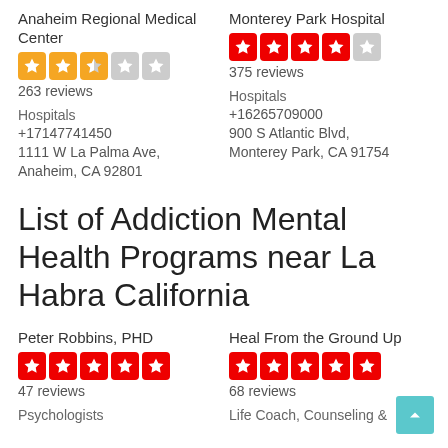Anaheim Regional Medical Center
[Figure (infographic): 2.5 out of 5 stars rating in yellow]
263 reviews
Hospitals
+17147741450
1111 W La Palma Ave, Anaheim, CA 92801
Monterey Park Hospital
[Figure (infographic): 4 out of 5 stars rating in red]
375 reviews
Hospitals
+16265709000
900 S Atlantic Blvd, Monterey Park, CA 91754
List of Addiction Mental Health Programs near La Habra California
Peter Robbins, PHD
[Figure (infographic): 5 out of 5 stars rating in red]
47 reviews
Heal From the Ground Up
[Figure (infographic): 5 out of 5 stars rating in red]
68 reviews
Psychologists
Life Coach, Counseling &